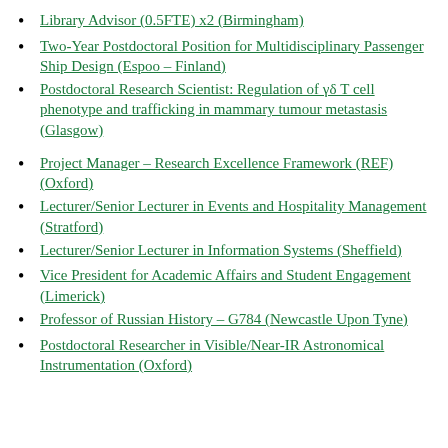Library Advisor (0.5FTE) x2 (Birmingham)
Two-Year Postdoctoral Position for Multidisciplinary Passenger Ship Design (Espoo – Finland)
Postdoctoral Research Scientist: Regulation of γδ T cell phenotype and trafficking in mammary tumour metastasis (Glasgow)
Project Manager – Research Excellence Framework (REF) (Oxford)
Lecturer/Senior Lecturer in Events and Hospitality Management (Stratford)
Lecturer/Senior Lecturer in Information Systems (Sheffield)
Vice President for Academic Affairs and Student Engagement (Limerick)
Professor of Russian History – G784 (Newcastle Upon Tyne)
Postdoctoral Researcher in Visible/Near-IR Astronomical Instrumentation (Oxford)